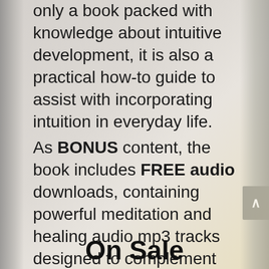only a book packed with knowledge about intuitive development, it is also a practical how-to guide to assist with incorporating intuition in everyday life.
As BONUS content, the book includes FREE audio downloads, containing powerful meditation and healing audio mp3 tracks designed to complement the exercises in the book.
On Sale